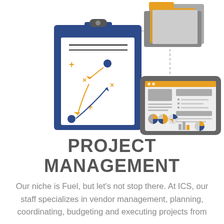[Figure (illustration): Project management illustration showing a clipboard with strategic planning diagram (arrows, X marks, dots in orange and dark blue), connected by dashed lines to a folder (orange and grey) at top and a tablet/dashboard (showing pie charts, bar charts, and report layouts in orange, grey, and dark blue) at right]
PROJECT MANAGEMENT
Our niche is Fuel, but let's not stop there. At ICS, our staff specializes in vendor management, planning, coordinating, budgeting and executing projects from